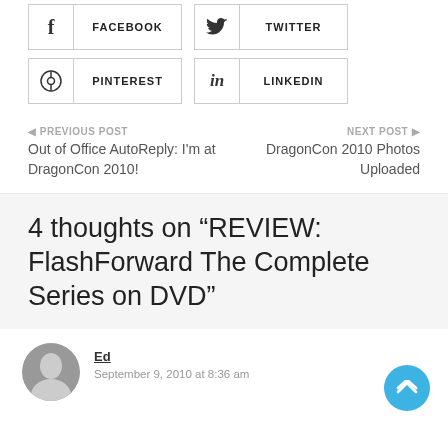[Figure (other): Social share buttons: Facebook, Twitter, Pinterest, LinkedIn]
PREVIOUS POST
Out of Office AutoReply: I'm at DragonCon 2010!
NEXT POST
DragonCon 2010 Photos Uploaded
4 thoughts on “REVIEW: FlashForward The Complete Series on DVD”
Ed
September 9, 2010 at 8:36 am